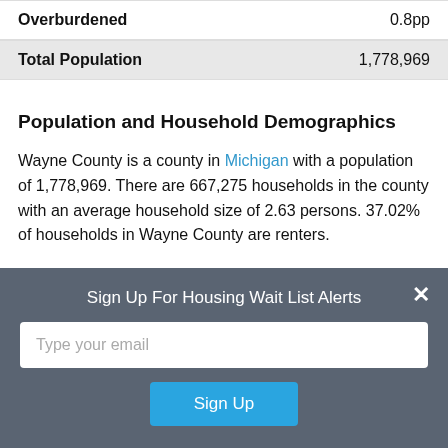|  |  |
| --- | --- |
| Overburdened | 0.8pp |
| Total Population | 1,778,969 |
Population and Household Demographics
Wayne County is a county in Michigan with a population of 1,778,969. There are 667,275 households in the county with an average household size of 2.63 persons. 37.02% of households in Wayne County are renters.
Income and Rent Overburden in Wayne County
Sign Up For Housing Wait List Alerts
Type your email
Sign Up